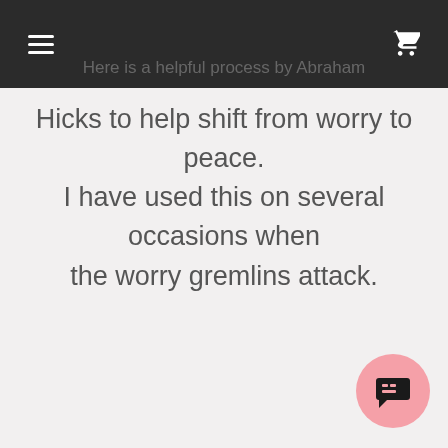navigation bar with hamburger menu and cart icon
Here is a helpful process by Abraham Hicks to help shift from worry to peace. I have used this on several occasions when the worry gremlins attack.
[Figure (illustration): Pink circular chat/comment button icon in the bottom right corner]